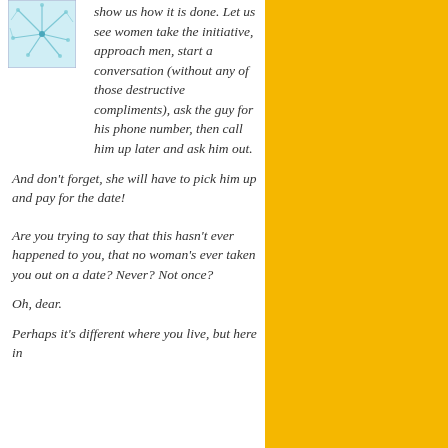[Figure (illustration): Small square avatar image with teal/blue abstract pattern on white background]
show us how it is done. Let us see women take the initiative, approach men, start a conversation (without any of those destructive compliments), ask the guy for his phone number, then call him up later and ask him out.
And don't forget, she will have to pick him up and pay for the date!
Are you trying to say that this hasn't ever happened to you, that no woman's ever taken you out on a date? Never? Not once?
Oh, dear.
Perhaps it's different where you live, but here in